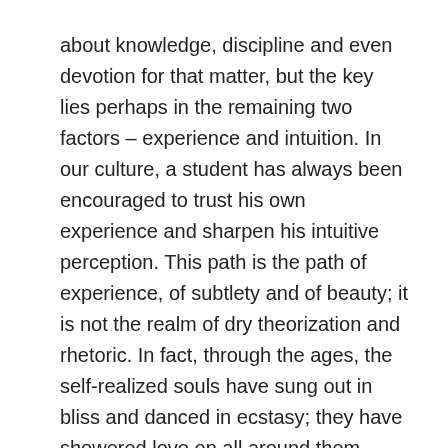about knowledge, discipline and even devotion for that matter, but the key lies perhaps in the remaining two factors – experience and intuition. In our culture, a student has always been encouraged to trust his own experience and sharpen his intuitive perception. This path is the path of experience, of subtlety and of beauty; it is not the realm of dry theorization and rhetoric. In fact, through the ages, the self-realized souls have sung out in bliss and danced in ecstasy; they have showered love on all around them.
In addition, they have also shown a keenness of perception and sharpness of logic that would put the greatest intellect to shame. The icing on this cake has been their focus on social reconstruction and rural development; from Chaitanya